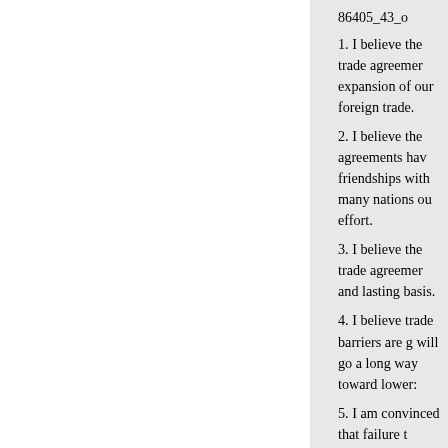86405_43_o
1. I believe the trade agreements expansion of our foreign trade.
2. I believe the agreements have friendships with many nations out effort.
3. I believe the trade agreements and lasting basis.
4. I believe trade barriers are g will go a long way toward lower:
5. I am convinced that failure t countries, free and occupied, as a other countries after the last war
In my opinion, there is no dou foreign trade between 1934 35 a agreement countries increased by only 32 percent. In these same ye compared with an increase of on trade agreements build trade, and of other countries with which we
Our figures for 1939-40 show ev